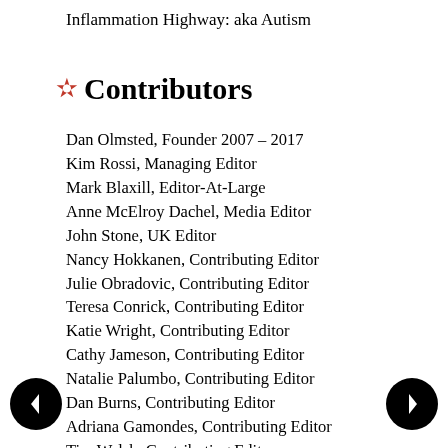Inflammation Highway: aka Autism
Contributors
Dan Olmsted, Founder 2007 – 2017
Kim Rossi, Managing Editor
Mark Blaxill, Editor-At-Large
Anne McElroy Dachel, Media Editor
John Stone, UK Editor
Nancy Hokkanen, Contributing Editor
Julie Obradovic, Contributing Editor
Teresa Conrick, Contributing Editor
Katie Wright, Contributing Editor
Cathy Jameson, Contributing Editor
Natalie Palumbo, Contributing Editor
Dan Burns, Contributing Editor
Adriana Gamondes, Contributing Editor
Tim Welsh, Contributing Editor